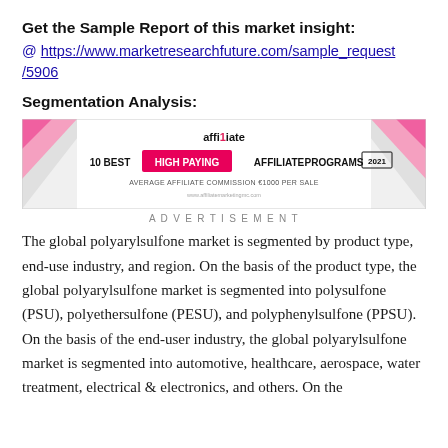Get the Sample Report of this market insight:
@ https://www.marketresearchfuture.com/sample_request/5906
Segmentation Analysis:
[Figure (illustration): Advertisement banner for '10 Best High Paying Affiliate Programs 2021' with affiliate logo, pink and white design, average affiliate commission €1000 per sale.]
ADVERTISEMENT
The global polyarylsulfone market is segmented by product type, end-use industry, and region. On the basis of the product type, the global polyarylsulfone market is segmented into polysulfone (PSU), polyethersulfone (PESU), and polyphenylsulfone (PPSU). On the basis of the end-user industry, the global polyarylsulfone market is segmented into automotive, healthcare, aerospace, water treatment, electrical & electronics, and others. On the